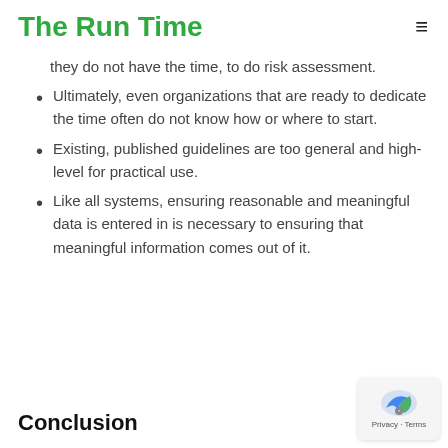The Run Time
they do not have the time, to do risk assessment.
Ultimately, even organizations that are ready to dedicate the time often do not know how or where to start.
Existing, published guidelines are too general and high-level for practical use.
Like all systems, ensuring reasonable and meaningful data is entered in is necessary to ensuring that meaningful information comes out of it.
Conclusion